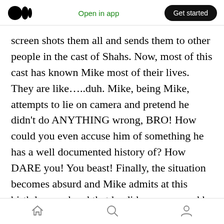Medium logo | Open in app | Get started
screen shots them all and sends them to other people in the cast of Shahs. Now, most of this cast has known Mike most of their lives. They are like…..duh. Mike, being Mike, attempts to lie on camera and pretend he didn't do ANYTHING wrong, BRO! How could you even accuse him of something he has a well documented history of? How DARE you! You beast! Finally, the situation becomes absurd and Mike admits at this birthday weekend that he did screw up and he is so sorry and Paulina taught him about real love. (Somewhere his ex Jessica fell off her chair
Home | Search | Profile